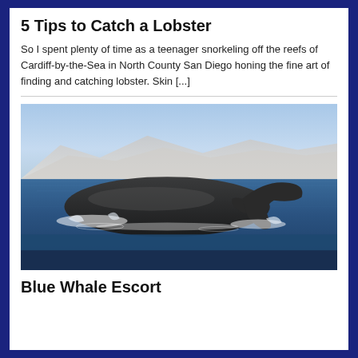5 Tips to Catch a Lobster
So I spent plenty of time as a teenager snorkeling off the reefs of Cardiff-by-the-Sea in North County San Diego honing the fine art of finding and catching lobster.  Skin [...]
[Figure (photo): A blue whale's back and tail flukes surfacing from dark blue ocean water, with coastal mountains or cliffs visible in the background under a blue sky.]
Blue Whale Escort